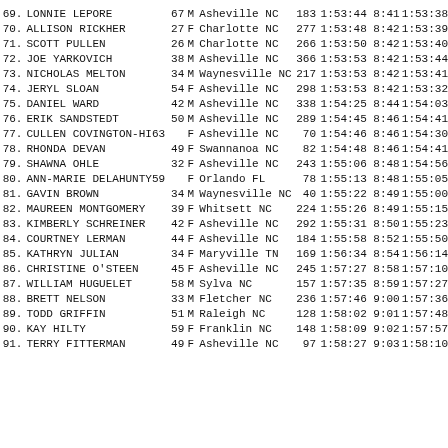| Rank | Name | Age | Sex | City | State | Bib | Time1 | Pace | Time2 |
| --- | --- | --- | --- | --- | --- | --- | --- | --- | --- |
| 69. | LONNIE LEPORE | 67 | M | Asheville | NC | 183 | 1:53:44 | 8:41 | 1:53:38 |
| 70. | ALLISON RICKHER | 27 | F | Charlotte | NC | 277 | 1:53:48 | 8:42 | 1:53:39 |
| 71. | SCOTT PULLEN | 26 | M | Charlotte | NC | 266 | 1:53:50 | 8:42 | 1:53:40 |
| 72. | JOE YARKOVICH | 38 | M | Asheville | NC | 366 | 1:53:53 | 8:42 | 1:53:44 |
| 73. | NICHOLAS MELTON | 34 | M | Waynesville | NC | 217 | 1:53:53 | 8:42 | 1:53:41 |
| 74. | JERYL SLOAN | 54 | F | Asheville | NC | 298 | 1:53:53 | 8:42 | 1:53:32 |
| 75. | DANIEL WARD | 42 | M | Asheville | NC | 338 | 1:54:25 | 8:44 | 1:54:03 |
| 76. | ERIK SANDSTEDT | 50 | M | Asheville | NC | 289 | 1:54:45 | 8:46 | 1:54:41 |
| 77. | CULLEN COVINGTON-HI | 63 | F | Asheville | NC | 70 | 1:54:46 | 8:46 | 1:54:30 |
| 78. | RHONDA DEVAN | 49 | F | Swannanoa | NC | 82 | 1:54:48 | 8:46 | 1:54:41 |
| 79. | SHAWNA OHLE | 32 | F | Asheville | NC | 243 | 1:55:06 | 8:48 | 1:54:56 |
| 80. | ANN-MARIE DELAHUNTY | 59 | F | Orlando | FL | 78 | 1:55:13 | 8:48 | 1:55:05 |
| 81. | GAVIN BROWN | 34 | M | Waynesville | NC | 40 | 1:55:22 | 8:49 | 1:55:00 |
| 82. | MAUREEN MONTGOMERY | 39 | F | Whitsett | NC | 224 | 1:55:26 | 8:49 | 1:55:15 |
| 83. | KIMBERLY SCHREINER | 42 | F | Asheville | NC | 292 | 1:55:31 | 8:50 | 1:55:23 |
| 84. | COURTNEY LERMAN | 44 | F | Asheville | NC | 184 | 1:55:58 | 8:52 | 1:55:50 |
| 85. | KATHRYN JULIAN | 34 | F | Maryville | TN | 169 | 1:56:34 | 8:54 | 1:56:14 |
| 86. | CHRISTINE O'STEEN | 45 | F | Asheville | NC | 245 | 1:57:27 | 8:58 | 1:57:10 |
| 87. | WILLIAM HUGUELET | 58 | M | Sylva | NC | 157 | 1:57:35 | 8:59 | 1:57:27 |
| 88. | BRETT NELSON | 33 | M | Fletcher | NC | 236 | 1:57:46 | 9:00 | 1:57:36 |
| 89. | TODD GRIFFIN | 51 | M | Raleigh | NC | 128 | 1:58:02 | 9:01 | 1:57:48 |
| 90. | KAY HILTY | 59 | F | Franklin | NC | 148 | 1:58:09 | 9:02 | 1:57:57 |
| 91. | TERRY FITTERMAN | 49 | F | Asheville | NC | 97 | 1:58:27 | 9:03 | 1:58:10 |